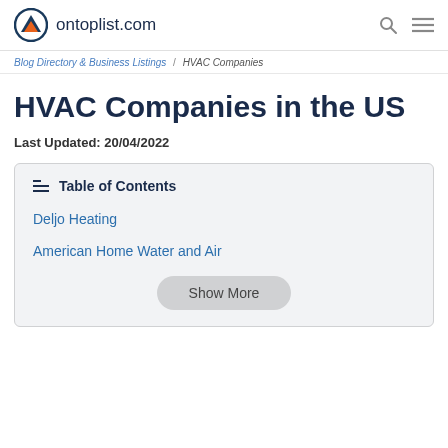ontoplist.com
Blog Directory & Business Listings / HVAC Companies
HVAC Companies in the US
Last Updated: 20/04/2022
Table of Contents
Deljo Heating
American Home Water and Air
Show More